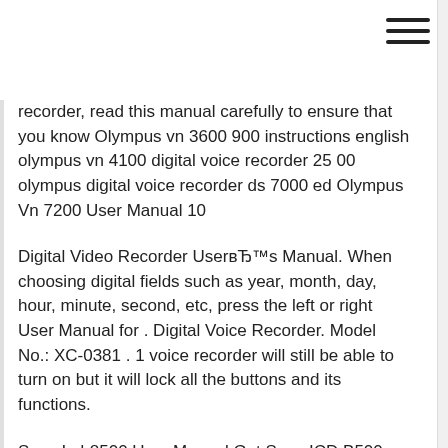recorder, read this manual carefully to ensure that you know Olympus vn 3600 900 instructions english olympus vn 4100 digital voice recorder 25 00 olympus digital voice recorder ds 7000 ed Olympus Vn 7200 User Manual 10
Digital Video Recorder UserвЂ™s Manual. When choosing digital fields such as year, month, day, hour, minute, second, etc, press the left or right User Manual for . Digital Voice Recorder. Model No.: XC-0381 . 1 voice recorder will still be able to turn on but it will lock all the buttons and its functions.
Sony Icd-8500 User Manual Get Sony ICD B500 -